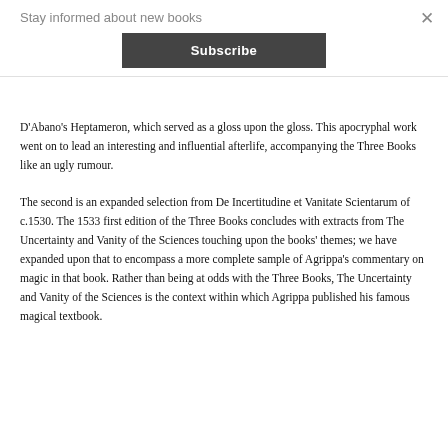Stay informed about new books
Subscribe
D'Abano's Heptameron, which served as a gloss upon the gloss. This apocryphal work went on to lead an interesting and influential afterlife, accompanying the Three Books like an ugly rumour.
The second is an expanded selection from De Incertitudine et Vanitate Scientarum of c.1530. The 1533 first edition of the Three Books concludes with extracts from The Uncertainty and Vanity of the Sciences touching upon the books' themes; we have expanded upon that to encompass a more complete sample of Agrippa's commentary on magic in that book. Rather than being at odds with the Three Books, The Uncertainty and Vanity of the Sciences is the context within which Agrippa published his famous magical textbook.